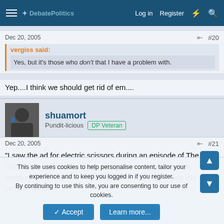DebatePolitics — Log in  Register
Dec 20, 2005  #20
vergiss said: Yes, but it's those who don't that I have a problem with.
Yep....I think we should get rid of em....
shuamort  Pundit-licious  DP Veteran
Dec 20, 2005  #21
"I saw the ad for electric scissors during an episode of The Simple Life, which is a show that glorifies these two rich, giggling c*nts who have no respect for anybody -- just vile people, awful
This site uses cookies to help personalise content, tailor your experience and to keep you logged in if you register. By continuing to use this site, you are consenting to our use of cookies.